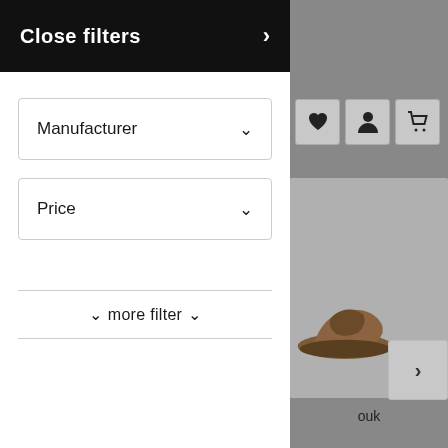Close filters
Manufacturer
Price
more filter
ouk